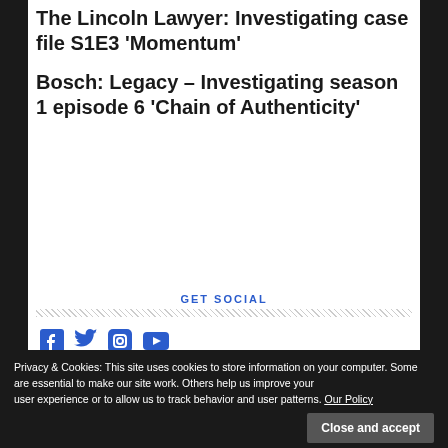The Lincoln Lawyer: Investigating case file S1E3 ‘Momentum’
Bosch: Legacy – Investigating season 1 episode 6 ‘Chain of Authenticity’
GET SOCIAL
[Figure (infographic): Social media icons: Facebook, Twitter, Instagram, YouTube in blue]
Privacy & Cookies: This site uses cookies to store information on your computer. Some are essential to make our site work. Others help us improve your user experience or to allow us to track behavior and user patterns. Our Policy
Close and accept